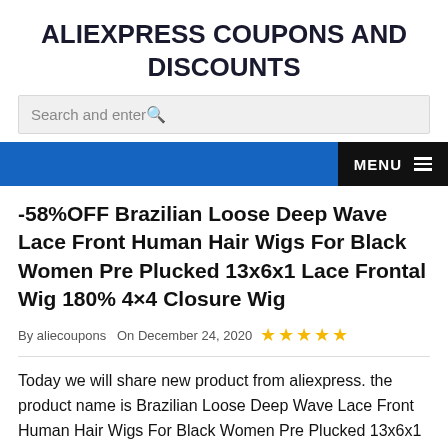ALIEXPRESS COUPONS AND DISCOUNTS
Search and enter
MENU
-58%OFF Brazilian Loose Deep Wave Lace Front Human Hair Wigs For Black Women Pre Plucked 13x6x1 Lace Frontal Wig 180% 4×4 Closure Wig
By aliecoupons   On December 24, 2020   ★★★★★
Today we will share new product from aliexpress. the product name is Brazilian Loose Deep Wave Lace Front Human Hair Wigs For Black Women Pre Plucked 13x6x1 Lace Frontal 180% 4×4 Closure Wig